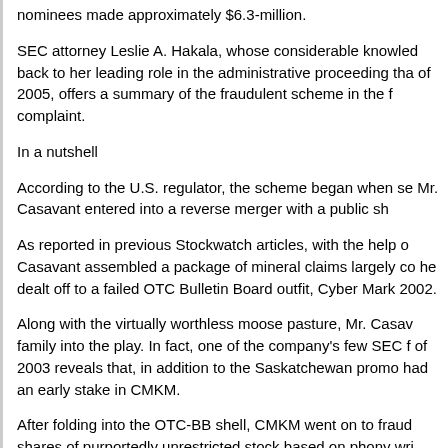nominees made approximately $6.3-million.
SEC attorney Leslie A. Hakala, whose considerable knowledge back to her leading role in the administrative proceeding that of 2005, offers a summary of the fraudulent scheme in the fi complaint.
In a nutshell
According to the U.S. regulator, the scheme began when se Mr. Casavant entered into a reverse merger with a public sh
As reported in previous Stockwatch articles, with the help of Casavant assembled a package of mineral claims largely co he dealt off to a failed OTC Bulletin Board outfit, Cyber Mark 2002.
Along with the virtually worthless moose pasture, Mr. Casava family into the play. In fact, one of the company's few SEC fi of 2003 reveals that, in addition to the Saskatchewan promo had an early stake in CMKM.
After folding into the OTC-BB shell, CMKM went on to fradu shares of purportedly unrestricted stock based on phony wri letters.